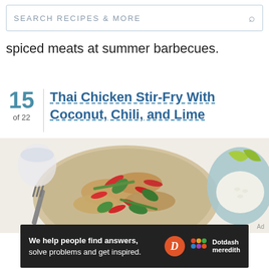SEARCH RECIPES & MORE
spiced meats at summer barbecues.
15 of 22 Thai Chicken Stir-Fry With Coconut, Chili, and Lime
[Figure (photo): Thai chicken stir-fry with coconut, chili, and lime served on a plate with a fork, garnished with red chili slices and fresh basil leaves, with lime wedges and white rice visible in the background]
Ad
We help people find answers, solve problems and get inspired.